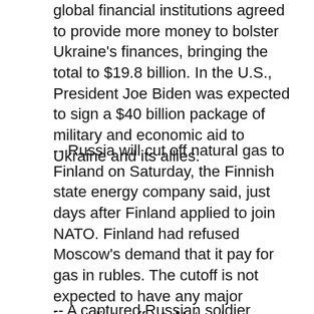global financial institutions agreed to provide more money to bolster Ukraine's finances, bringing the total to $19.8 billion. In the U.S., President Joe Biden was expected to sign a $40 billion package of military and economic aid to Ukraine and its allies.
-- Russia will cut off natural gas to Finland on Saturday, the Finnish state energy company said, just days after Finland applied to join NATO. Finland had refused Moscow's demand that it pay for gas in rubles. The cutoff is not expected to have any major immediate effect. Natural gas accounted for just 6% of Finland's total energy consumption in 2020, Finnish broadcaster YLE said.
-- A captured Russian soldier accused of killing...